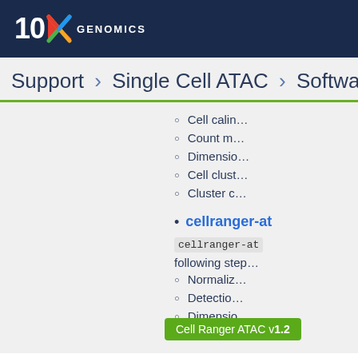[Figure (logo): 10x Genomics logo with colored X on dark navy background header bar]
Support › Single Cell ATAC › Software
Cell calin...
Count m...
Dimensio...
Cell clust...
Cluster c...
cellranger-at...
cellranger-at... following step...
Normaliz...
Detectio...
Dimensio...
Cell Ranger ATAC v1.2